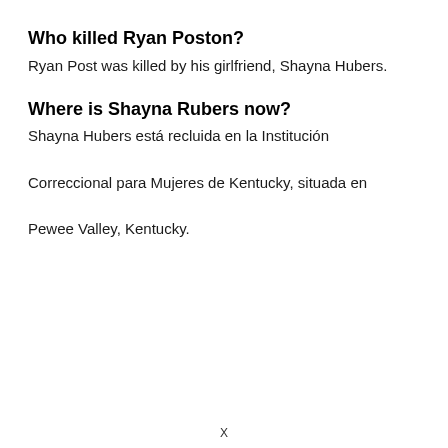Who killed Ryan Poston?
Ryan Post was killed by his girlfriend, Shayna Hubers.
Where is Shayna Rubers now?
Shayna Hubers está recluida en la Institución Correccional para Mujeres de Kentucky, situada en Pewee Valley, Kentucky.
X